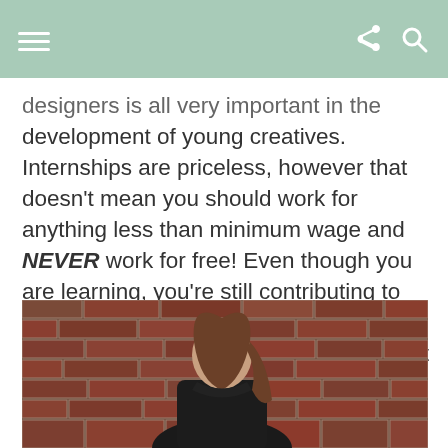[navigation bar with hamburger menu, share icon, and search icon]
designers is all very important in the development of young creatives. Internships are priceless, however that doesn't mean you should work for anything less than minimum wage and NEVER work for free! Even though you are learning, you're still contributing to the team. If you wasn't deserving of the opportunity then the studio wouldn't want you, so you're worth paying!
[Figure (photo): A young woman with long brown hair standing in front of a red brick wall, wearing a dark top. Photo is cropped — only upper body and background visible.]